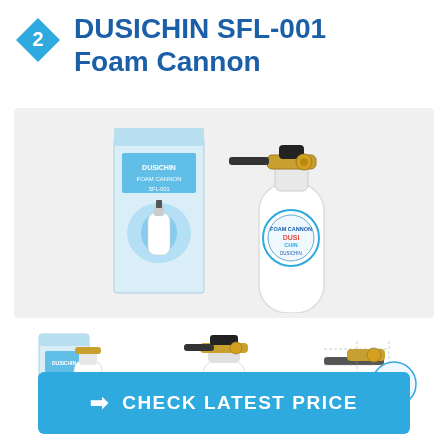2 DUSICHIN SFL-001 Foam Cannon
[Figure (photo): Main product photo showing DUSICHIN SFL-001 Foam Cannon — a white bottle with blue Dusichin branding label, brass nozzle attachment on top, black handle, shown next to its retail packaging box with blue design.]
[Figure (photo): Thumbnail 1: product box with foam cannon visible, with left navigation arrow circle overlay]
[Figure (photo): Thumbnail 2: foam cannon bottle and nozzle assembly front view]
[Figure (photo): Thumbnail 3: foam cannon nozzle/connector close-up with right navigation arrow circle overlay]
CHECK LATEST PRICE